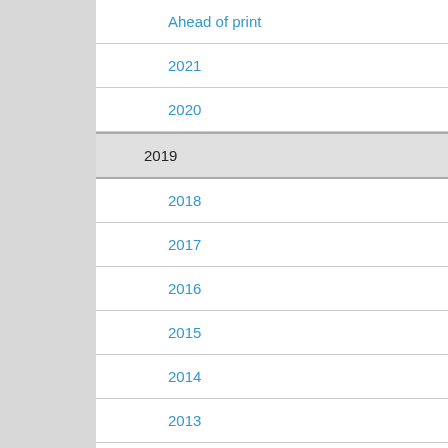Ahead of print
2021
2020
2019
2018
2017
2016
2015
2014
2013
2012
Endocrine Regulations
General Physiology and Biophysics
Neoplasma
Studia Psychologica
Cardiology Letters
Psychológia a patopsych. dieťaťa
Kovove Materialy-Metallic Materials
Slovenská hudba